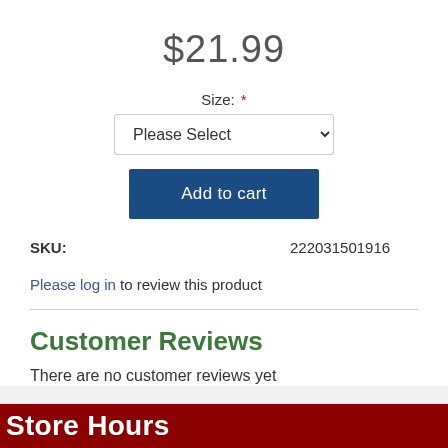$21.99
Size: *
Please Select (dropdown)
Add to cart
SKU: 222031501916
Please log in to review this product
Customer Reviews
There are no customer reviews yet
Store Hours